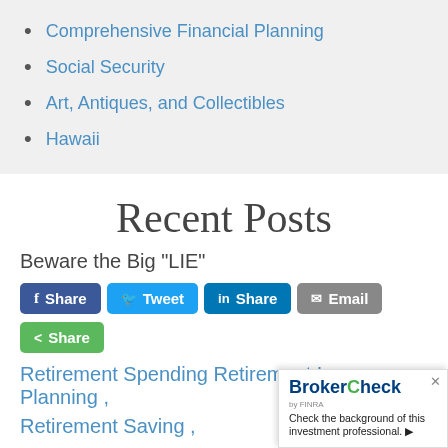Comprehensive Financial Planning
Social Security
Art, Antiques, and Collectibles
Hawaii
Recent Posts
Beware the Big "LIE"
Share | Tweet | Share | Email | Share
Retirement Spending Retirement Income Planning ,
Retirement Saving ,